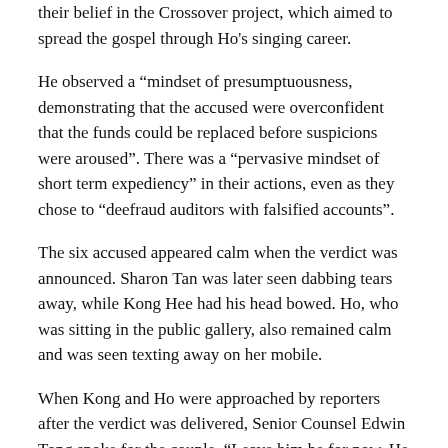their belief in the Crossover project, which aimed to spread the gospel through Ho's singing career.
He observed a “mindset of presumptuousness, demonstrating that the accused were overconfident that the funds could be replaced before suspicions were aroused”. There was a “pervasive mindset of short term expediency” in their actions, even as they chose to “deefraud auditors with falsified accounts”.
The six accused appeared calm when the verdict was announced. Sharon Tan was later seen dabbing tears away, while Kong Hee had his head bowed. Ho, who was sitting in the public gallery, also remained calm and was seen texting away on her mobile.
When Kong and Ho were approached by reporters after the verdict was delivered, Senior Counsel Edwin Tong spoke for the couple, “Leave him be for now. He can’t talk now.”
The verdict follows a 140-day trial — one of the longest in Singapore — that came to a close last month when the prosecution and lawyers for the accused made their final